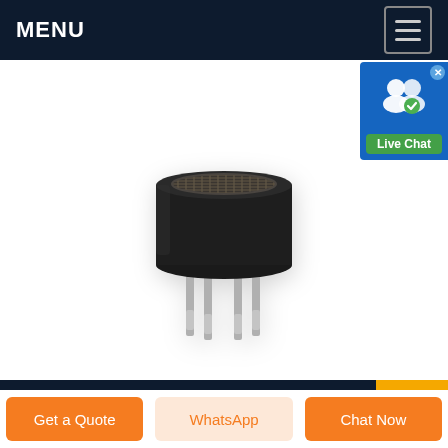MENU
[Figure (photo): A cylindrical black gas sensor component with a mesh top and four metal pins at the bottom, photographed on a white background with slight reflection.]
Sensor China Trade,Buy China ...
Get a Quote
WhatsApp
Chat Now